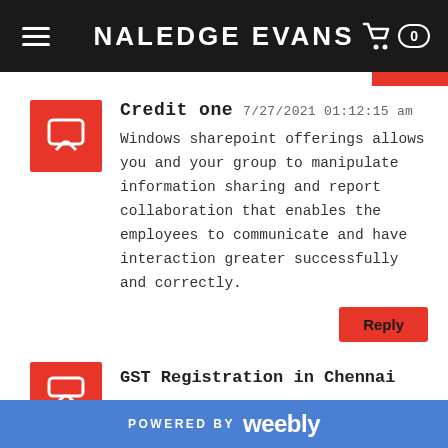NALEDGE EVANS
Credit one  7/27/2021 01:12:15 am

Windows sharepoint offerings allows you and your group to manipulate information sharing and report collaboration that enables the employees to communicate and have interaction greater successfully and correctly.
GST Registration in Chennai
POWERED BY weebly